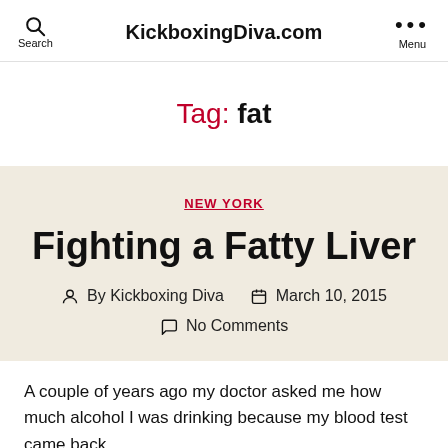KickboxingDiva.com
Tag: fat
NEW YORK
Fighting a Fatty Liver
By Kickboxing Diva   March 10, 2015   No Comments
A couple of years ago my doctor asked me how much alcohol I was drinking because my blood test came back